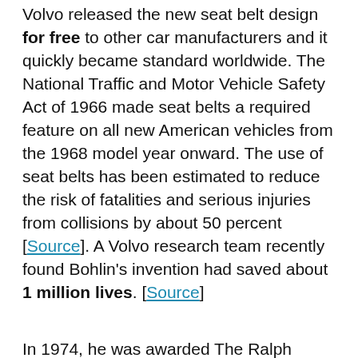Volvo released the new seat belt design for free to other car manufacturers and it quickly became standard worldwide. The National Traffic and Motor Vehicle Safety Act of 1966 made seat belts a required feature on all new American vehicles from the 1968 model year onward. The use of seat belts has been estimated to reduce the risk of fatalities and serious injuries from collisions by about 50 percent [Source]. A Volvo research team recently found Bohlin's invention had saved about 1 million lives. [Source]
In 1974, he was awarded The Ralph Isbrandt Automotive Safety Engineering Award, and in 1989 he was inducted into the Hall of Fame for Safety and Health. He received a gold medal from Royal Swedish Academy of Engineering Science in 1995 and in 1999, was inducted into the Automotive Hall of Fame. He retired from Volvo in 1985...